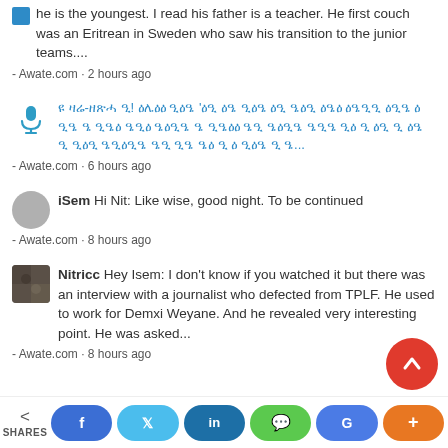he is the youngest. I read his father is a teacher. He first couch was an Eritrean in Sweden who saw his transition to the junior teams....
- Awate.com · 2 hours ago
[Tigrinya text] - Awate.com · 6 hours ago
iSem Hi Nit: Like wise, good night. To be continued
- Awate.com · 8 hours ago
Nitricc Hey Isem: I don't know if you watched it but there was an interview with a journalist who defected from TPLF. He used to work for Demxi Weyane. And he revealed very interesting point. He was asked...
- Awate.com · 8 hours ago